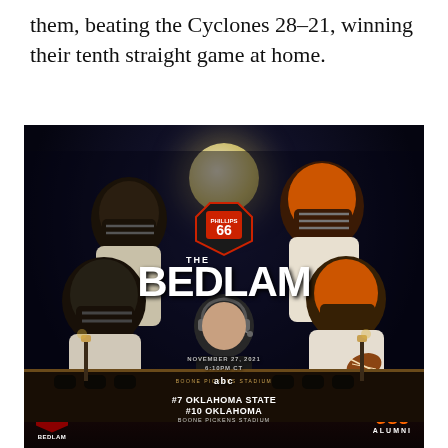them, beating the Cyclones 28–21, winning their tenth straight game at home.
[Figure (photo): Promotional poster for 'The Bedlam' Phillips 66 football game between #7 Oklahoma State and #10 Oklahoma at Boone Pickens Stadium, November 27, 2021, 6:10PM CT on ABC. Features multiple Oklahoma State football players in uniform against a night sky backdrop with a full moon, a coach with a headset in the center, and the stadium in the background. Bottom shows Bedlam logo and OSU Alumni branding.]